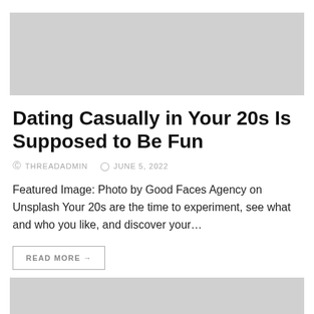[Figure (photo): Light gray image placeholder at top of article]
Dating Casually in Your 20s Is Supposed to Be Fun
@ THREADADMIN   © JUNE 5, 2022
Featured Image: Photo by Good Faces Agency on Unsplash Your 20s are the time to experiment, see what and who you like, and discover your…
READ MORE →
[Figure (photo): Light gray image placeholder at bottom of page]